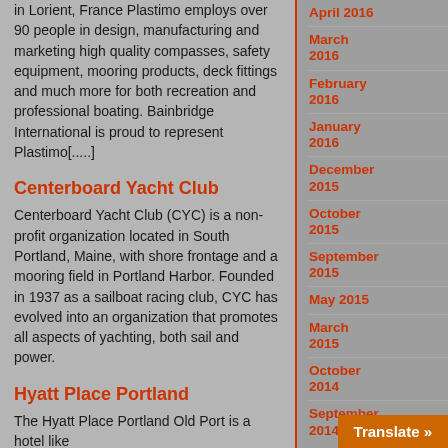in Lorient, France Plastimo employs over 90 people in design, manufacturing and marketing high quality compasses, safety equipment, mooring products, deck fittings and much more for both recreation and professional boating. Bainbridge International is proud to represent Plastimo[.....]
Centerboard Yacht Club
Centerboard Yacht Club (CYC) is a non-profit organization located in South Portland, Maine, with shore frontage and a mooring field in Portland Harbor. Founded in 1937 as a sailboat racing club, CYC has evolved into an organization that promotes all aspects of yachting, both sail and power.
Hyatt Place Portland
The Hyatt Place Portland Old Port is a hotel like
April 2016
March 2016
February 2016
January 2016
December 2015
October 2015
September 2015
May 2015
March 2015
October 2014
September 2014